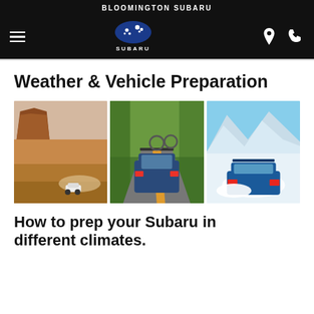BLOOMINGTON SUBARU
[Figure (logo): Subaru star logo with navigation icons (hamburger menu, location pin, phone)]
Weather & Vehicle Preparation
[Figure (photo): Three photos side by side: a white Subaru driving in a desert landscape with red rock mesas; a dark blue Subaru SUV with a bicycle on the roof rack driving on a winding road; a blue Subaru driving through deep snow in a snowy mountain landscape.]
How to prep your Subaru in different climates.